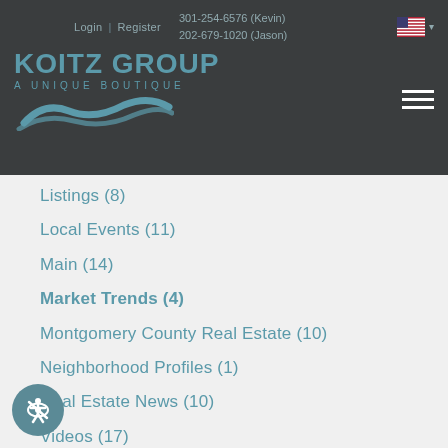Koitz Group – A Unique Boutique | Login | Register | 301-254-6576 (Kevin) | 202-679-1020 (Jason)
Listings  (8)
Local Events  (11)
Main  (14)
Market Trends  (4)
Montgomery County Real Estate  (10)
Neighborhood Profiles  (1)
Real Estate News  (10)
Videos  (17)
Washington DC Real Estate  (20)
Posts By Month